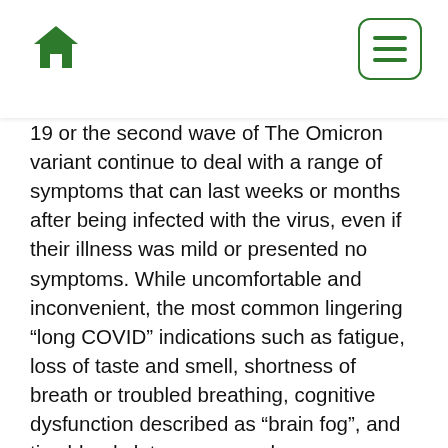Home menu
19 or the second wave of The Omicron variant continue to deal with a range of symptoms that can last weeks or months after being infected with the virus, even if their illness was mild or presented no symptoms. While uncomfortable and inconvenient, the most common lingering “long COVID” indications such as fatigue, loss of taste and smell, shortness of breath or troubled breathing, cognitive dysfunction described as “brain fog”, and tiny blood clots can even show up as a relapse, with old or new symptoms.
According to the World Health Organization, the constellation of post-symptoms long-haulers experience generally occurs three months after symptomatic COVID-19 begins and lasts for at least two months. Sometimes symptoms never disappear